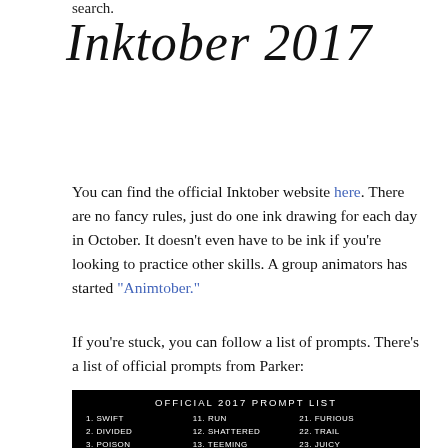search.
Inktober 2017
You can find the official Inktober website here. There are no fancy rules, just do one ink drawing for each day in October. It doesn't even have to be ink if you're looking to practice other skills. A group animators has started "Animtober."
If you're stuck, you can follow a list of prompts. There's a list of official prompts from Parker:
[Figure (other): Official Inktober 2017 Prompt List image on black background showing the Inktober logo and a numbered list of prompts in three columns: 1. SWIFT, 2. DIVIDED, 3. POISON, 4. UNDERWATER, 11. RUN, 12. SHATTERED, 13. TEEMING, 14. FIERCE, 21. FURIOUS, 22. TRAIL, 23. JUICY, 24. BLIND]